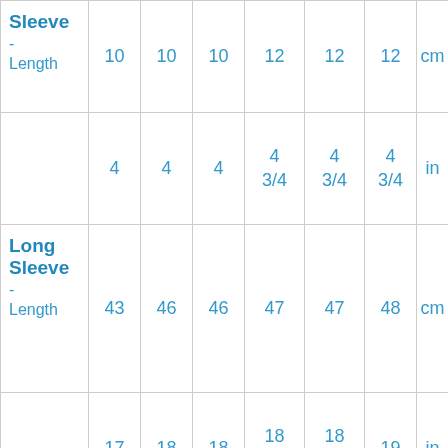|  |  |  |  |  |  |  |  |
| --- | --- | --- | --- | --- | --- | --- | --- |
| Sleeve - Length | 10 | 10 | 10 | 12 | 12 | 12 | cm |
|  | 4 | 4 | 4 | 4 3/4 | 4 3/4 | 4 3/4 | in |
| Long Sleeve - Length | 43 | 46 | 46 | 47 | 47 | 48 | cm |
|  | 17 | 18 | 18 | 18 1/2 | 18 1/2 | 19 | in |